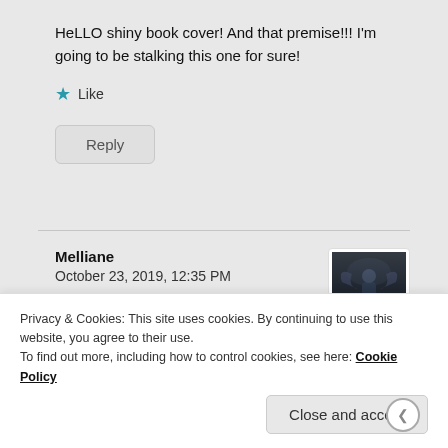HeLLO shiny book cover! And that premise!!! I'm going to be stalking this one for sure!
★ Like
Reply
Melliane
October 23, 2019, 12:35 PM
[Figure (photo): Avatar image: dark fantasy figure with wings against dark background]
Oh this one is new to me
Privacy & Cookies: This site uses cookies. By continuing to use this website, you agree to their use.
To find out more, including how to control cookies, see here: Cookie Policy
Close and accept